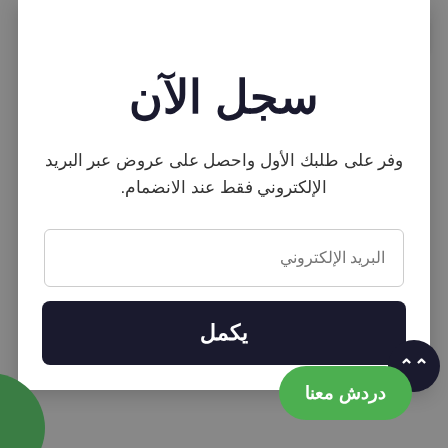[Figure (screenshot): Language selector dropdown showing Saudi Arabia flag and 'Arabic' label with chevron]
سجل الآن
وفر على طلبك الأول واحصل على عروض عبر البريد الإلكتروني فقط عند الانضمام.
البريد الإلكتروني
يكمل
دردش معنا